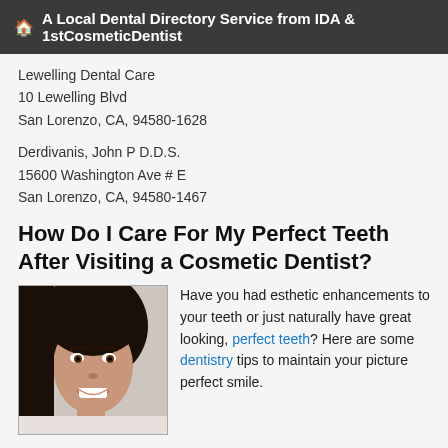🏠 A Local Dental Directory Service from IDA & 1stCosmeticDentist
Lewelling Dental Care
10 Lewelling Blvd
San Lorenzo, CA, 94580-1628
Derdivanis, John P D.D.S.
15600 Washington Ave # E
San Lorenzo, CA, 94580-1467
How Do I Care For My Perfect Teeth After Visiting a Cosmetic Dentist?
[Figure (photo): Photo of a woman smiling showing white teeth]
Have you had esthetic enhancements to your teeth or just naturally have great looking, perfect teeth? Here are some dentistry tips to maintain your picture perfect smile.
n order to maintain a healthy smile, you have to know… read more
The Artistry Of Tooth Bonding and Dental Crowns